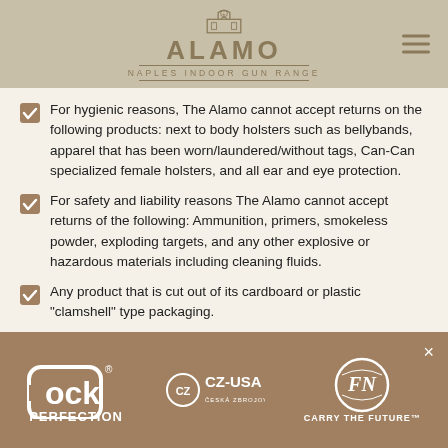ALAMO NAPLES INDOOR GUN RANGE
For hygienic reasons, The Alamo cannot accept returns on the following products: next to body holsters such as bellybands, apparel that has been worn/laundered/without tags, Can-Can specialized female holsters, and all ear and eye protection.
For safety and liability reasons The Alamo cannot accept returns of the following: Ammunition, primers, smokeless powder, exploding targets, and any other explosive or hazardous materials including cleaning fluids.
Any product that is cut out of its cardboard or plastic "clamshell" type packaging.
[Figure (logo): Footer with Glock Perfection, CZ-USA, and FN Carry the Future logos on tan/brown background]